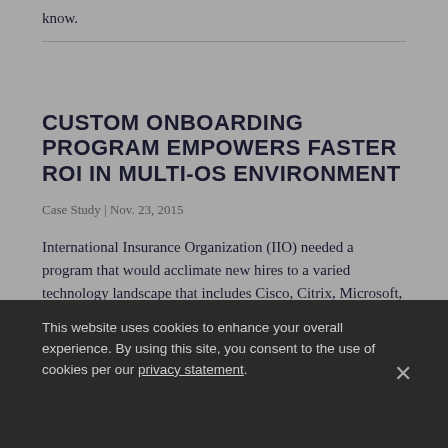know.
CUSTOM ONBOARDING PROGRAM EMPOWERS FASTER ROI IN MULTI-OS ENVIRONMENT
Case Study | Nov. 23, 2015
International Insurance Organization (IIO) needed a program that would acclimate new hires to a varied technology landscape that includes Cisco, Citrix, Microsoft, VMware and IBM products.
This website uses cookies to enhance your overall experience. By using this site, you consent to the use of cookies per our privacy statement.